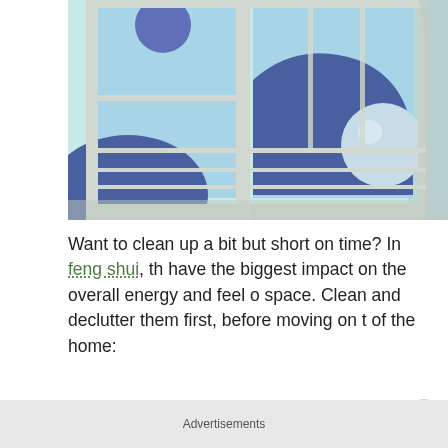[Figure (illustration): Artistic illustration of an open white-framed window with two panels, showing a surreal scene outside with blue/purple abstract shapes and spheres against a light blue sky. The interior shows a light teal/mint colored room. The scene has a dreamlike, painterly quality.]
Want to clean up a bit but short on time? In feng shui, th have the biggest impact on the overall energy and feel o space. Clean and declutter them first, before moving on t of the home:
1. The front door
Advertisements